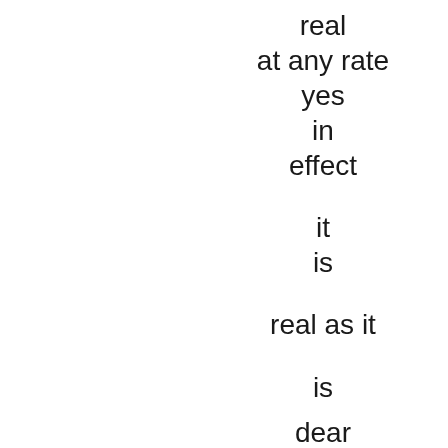real
at any rate
yes
in
effect
it
is
real as it
is
dear